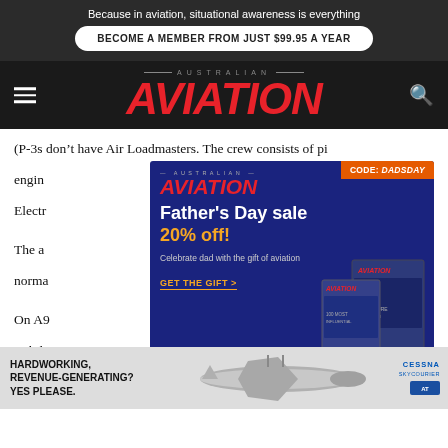Because in aviation, situational awareness is everything
BECOME A MEMBER FROM JUST $99.95 A YEAR
AVIATION
(P-3s don’t have Air Loadmasters. The crew consists of pi... engin... anager a... Electr... carried o...
The a... bass and norma...
On A9... amaging stabili... w compro not ab... ed into th...
[Figure (infographic): Australian Aviation Father's Day sale advertisement with code DADSDAY offering 20% off, blue background, magazine images on right side.]
[Figure (infographic): Cessna SkyCourier advertisement banner: HARDWORKING, REVENUE-GENERATING? YES PLEASE. with plane image and Cessna SkyCourier logo.]